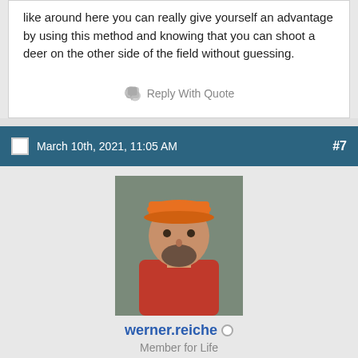like around here you can really give yourself an advantage by using this method and knowing that you can shoot a deer on the other side of the field without guessing.
Reply With Quote
March 10th, 2021, 11:05 AM  #7
[Figure (photo): Profile photo of user werner.reiche wearing an orange cap and red shirt]
werner.reiche
Member for Life
Originally Posted by Fox